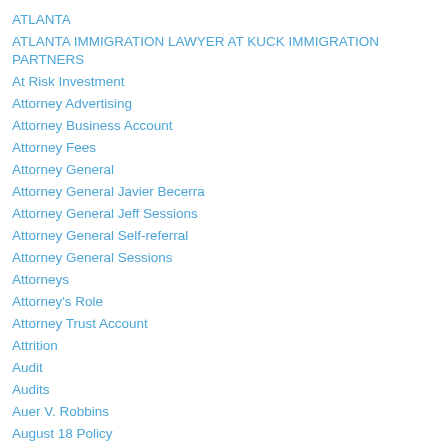ATLANTA
ATLANTA IMMIGRATION LAWYER AT KUCK IMMIGRATION PARTNERS
At Risk Investment
Attorney Advertising
Attorney Business Account
Attorney Fees
Attorney General
Attorney General Javier Becerra
Attorney General Jeff Sessions
Attorney General Self-referral
Attorney General Sessions
Attorneys
Attorney's Role
Attorney Trust Account
Attrition
Audit
Audits
Auer V. Robbins
August 18 Policy
Australia
Automatic Conversion Provision